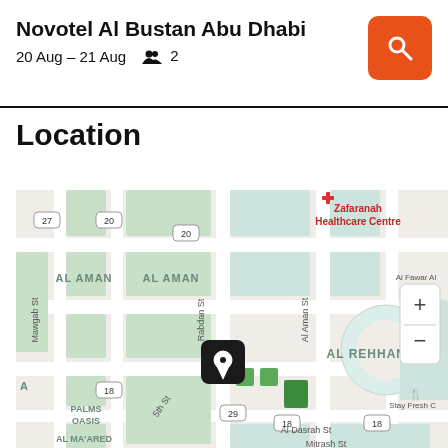Novotel Al Bustan Abu Dhabi
20 Aug – 21 Aug  👥 2
Location
[Figure (map): Street map of Abu Dhabi showing neighborhoods AL AMAN, AL REHHAN, PALMS OASIS, AL MA'ARED, streets including Mawgab St, Rabdan St, Al Aman St, Al Dasrah St, Mitrash St, 5th St, route markers 18, 20, 27, 29, Zafaranah Healthcare Centre with red cross icon, Al Fawar Al... text, Stay Fresh C... text, a location pin marker in center, and map zoom controls (+/-)]